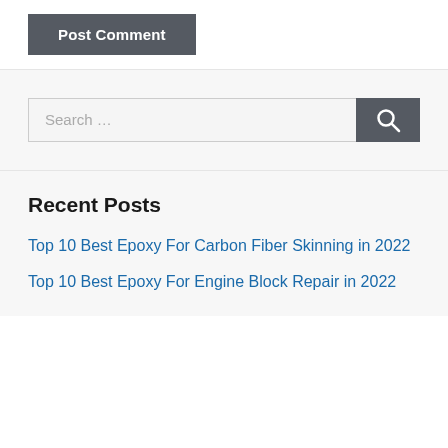Post Comment
Search …
Recent Posts
Top 10 Best Epoxy For Carbon Fiber Skinning in 2022
Top 10 Best Epoxy For Engine Block Repair in 2022